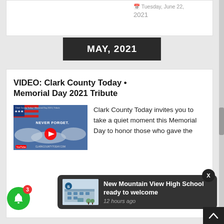Tuesday, June 22, 2021
MAY, 2021
VIDEO: Clark County Today • Memorial Day 2021 Tribute
[Figure (screenshot): YouTube video thumbnail showing an American flag with text 'NEVER FORGET' on a dramatic sky background, with YouTube play button overlay]
Clark County Today invites you to take a quiet moment this Memorial Day to honor those who gave the
[Figure (screenshot): Notification popup showing New Mountain View High School building image with text 'New Mountain View High School ready to welcome' and '12 hours ago']